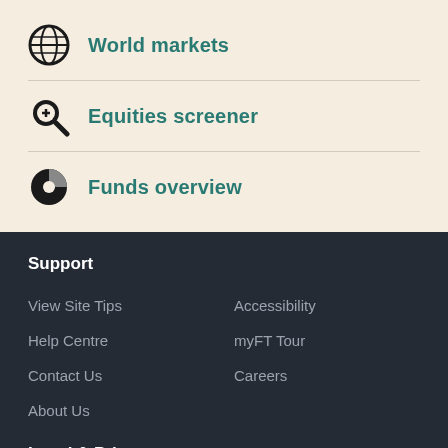World markets
Equities screener
Funds overview
Support
View Site Tips
Accessibility
Help Centre
myFT Tour
Contact Us
Careers
About Us
Legal & Privacy
Terms & Conditions